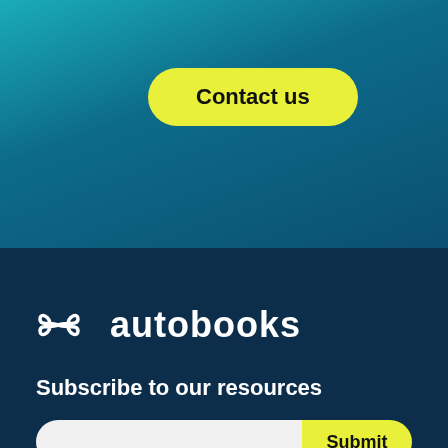[Figure (logo): Contact us button on teal/dark blue gradient background]
Contact us
[Figure (logo): Autobooks logo with infinity-style icon in white on dark navy background]
Subscribe to our resources
Submit